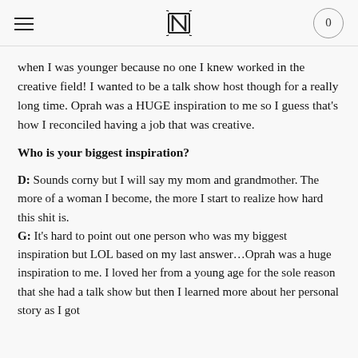≡  [logo]  0
when I was younger because no one I knew worked in the creative field! I wanted to be a talk show host though for a really long time. Oprah was a HUGE inspiration to me so I guess that's how I reconciled having a job that was creative.
Who is your biggest inspiration?
D: Sounds corny but I will say my mom and grandmother. The more of a woman I become, the more I start to realize how hard this shit is.
G: It's hard to point out one person who was my biggest inspiration but LOL based on my last answer…Oprah was a huge inspiration to me. I loved her from a young age for the sole reason that she had a talk show but then I learned more about her personal story as I got